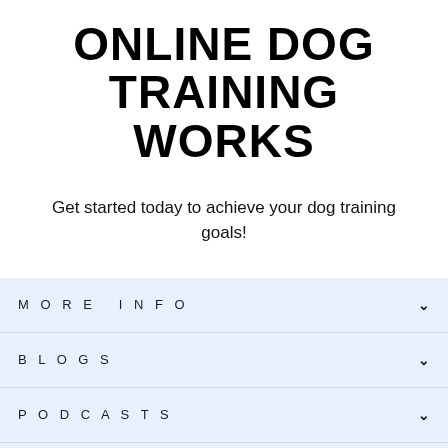ONLINE DOG TRAINING WORKS
Get started today to achieve your dog training goals!
MORE INFO
BLOGS
PODCASTS
LEGAL
[Figure (other): Payment method icons: Apple Pay, Discover, Meta, Google Pay, Mastercard, PayPal, OPay, Venmo, Visa]